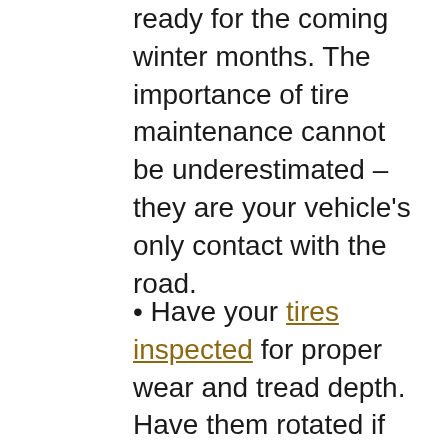ready for the coming winter months. The importance of tire maintenance cannot be underestimated – they are your vehicle's only contact with the road.
• Have your tires inspected for proper wear and tread depth. Have them rotated if necessary